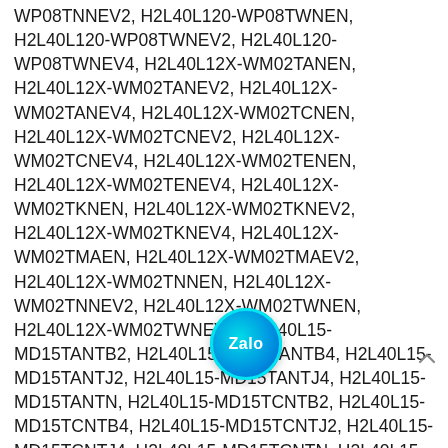WP08TNNEV2, H2L40L120-WP08TWNEN, H2L40L120-WP08TWNEV2, H2L40L120-WP08TWNEV4, H2L40L12X-WM02TANEN, H2L40L12X-WM02TANEV2, H2L40L12X-WM02TANEV4, H2L40L12X-WM02TCNEN, H2L40L12X-WM02TCNEV2, H2L40L12X-WM02TCNEV4, H2L40L12X-WM02TENEN, H2L40L12X-WM02TENEV4, H2L40L12X-WM02TKNEN, H2L40L12X-WM02TKNEV2, H2L40L12X-WM02TKNEV4, H2L40L12X-WM02TMAEN, H2L40L12X-WM02TMAEV2, H2L40L12X-WM02TNNEN, H2L40L12X-WM02TNNEV2, H2L40L12X-WM02TWNEN, H2L40L12X-WM02TWNEV4, H2L40L15-MD15TANTB2, H2L40L15-MD15TANTB4, H2L40L15-MD15TANTJ2, H2L40L15-MD15TANTJ4, H2L40L15-MD15TANTN, H2L40L15-MD15TCNTB2, H2L40L15-MD15TCNTB4, H2L40L15-MD15TCNTJ2, H2L40L15-MD15TCNTJ4, H2L40L15-MD15TCNTN, H2L40L15-MD15TENTB4, H2L40L15-MD15TENTJ4, H2L40L15-MD15TENTN, H2L40L15-MD15TKNTB2, H2L40L15-MD15TKNTB4, H2L40L15-MD15TKNTJ2, H2L40L15-MD15TKNTJ4, H2L40L15-MD15TKNTN, H2L40L15-MD15TMATB2, H2L40L15-
[Figure (logo): Zalo app icon - circular teal/blue gradient button with 'Zalo' text in white]